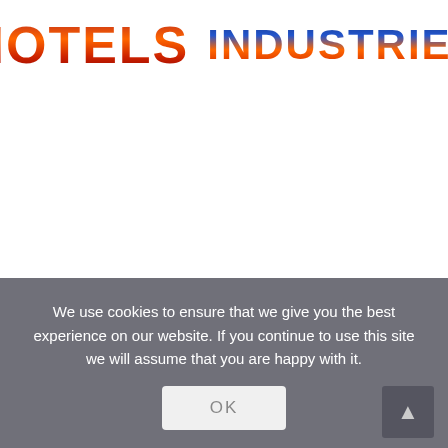[Figure (logo): Two-part logo: 'HOTELS' in bold fire/red gradient text and 'INDUSTRIES' in bold blue-to-orange gradient text]
We use cookies to ensure that we give you the best experience on our website. If you continue to use this site we will assume that you are happy with it.